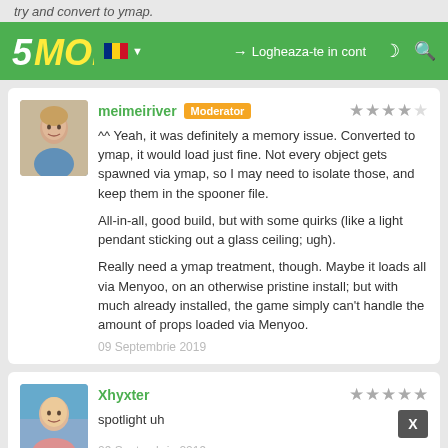try and convert to ymap.
[Figure (logo): 5MODS logo with green navbar, Romanian flag, login link and search icon]
meimeiriver [Moderator] - 4 stars
^^ Yeah, it was definitely a memory issue. Converted to ymap, it would load just fine. Not every object gets spawned via ymap, so I may need to isolate those, and keep them in the spooner file.

All-in-all, good build, but with some quirks (like a light pendant sticking out a glass ceiling; ugh).

Really need a ymap treatment, though. Maybe it loads all via Menyoo, on an otherwise pristine install; but with much already installed, the game simply can't handle the amount of props loaded via Menyoo.

09 Septembrie 2019
Xhyxter - 5 stars
spotlight uh
09 Septembrie 2019